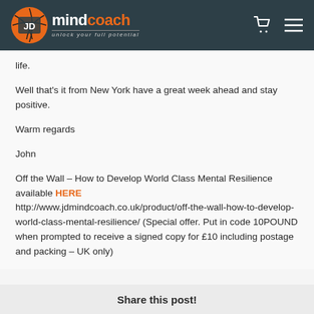JD MindCoach – unlock your full potential
life.
Well that's it from New York have a great week ahead and stay positive.
Warm regards
John
Off the Wall – How to Develop World Class Mental Resilience available HERE http://www.jdmindcoach.co.uk/product/off-the-wall-how-to-develop-world-class-mental-resilience/ (Special offer. Put in code 10POUND when prompted to receive a signed copy for £10 including postage and packing – UK only)
Share this post!